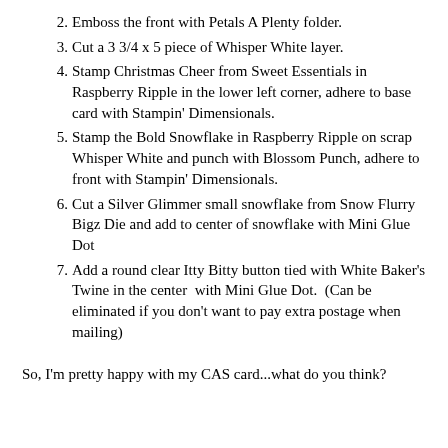2. Emboss the front with Petals A Plenty folder.
3. Cut a 3 3/4 x 5 piece of Whisper White layer.
4. Stamp Christmas Cheer from Sweet Essentials in Raspberry Ripple in the lower left corner, adhere to base card with Stampin' Dimensionals.
5. Stamp the Bold Snowflake in Raspberry Ripple on scrap Whisper White and punch with Blossom Punch, adhere to front with Stampin' Dimensionals.
6. Cut a Silver Glimmer small snowflake from Snow Flurry Bigz Die and add to center of snowflake with Mini Glue Dot
7. Add a round clear Itty Bitty button tied with White Baker's Twine in the center  with Mini Glue Dot.  (Can be eliminated if you don't want to pay extra postage when mailing)
So, I'm pretty happy with my CAS card...what do you think?